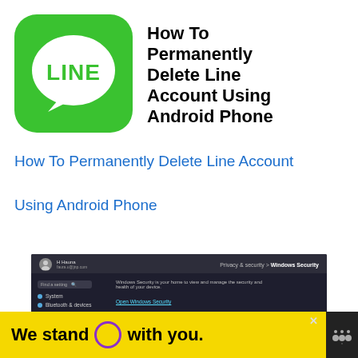[Figure (logo): LINE app logo — green rounded square with white speech bubble containing the text LINE in green bold letters]
How To Permanently Delete Line Account Using Android Phone
How To Permanently Delete Line Account Using Android Phone
[Figure (screenshot): Windows Settings screenshot showing Privacy & security > Windows Security page with dark theme, user avatar, sidebar with System and Bluetooth & devices items, and Protection areas section]
[Figure (other): Advertisement banner: yellow background with text 'We stand O with you.' and a purple circle logo, with close button and Mint Mobile logo on black background]